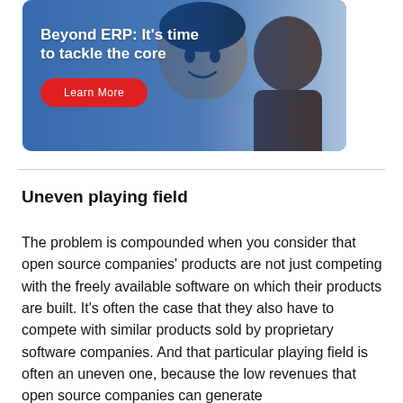[Figure (photo): Advertisement banner showing two smiling men, with blue overlay on left side. Text reads 'Beyond ERP: It's time to tackle the core' with a red 'Learn More' button.]
Uneven playing field
The problem is compounded when you consider that open source companies' products are not just competing with the freely available software on which their products are built. It's often the case that they also have to compete with similar products sold by proprietary software companies. And that particular playing field is often an uneven one, because the low revenues that open source companies can generate